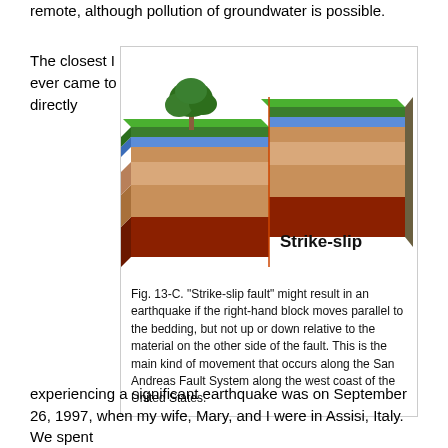remote, although pollution of groundwater is possible.
The closest I ever came to directly
[Figure (illustration): Diagram of a strike-slip fault showing two geological blocks with layered strata (dark red, tan, light tan, dark tan, blue, green) offset horizontally. A tree is on the left block. Label reads 'Strike-slip'.]
Fig. 13-C. "Strike-slip fault" might result in an earthquake if the right-hand block moves parallel to the bedding, but not up or down relative to the material on the other side of the fault. This is the main kind of movement that occurs along the San Andreas Fault System along the west coast of the United States.
experiencing a significant earthquake was on September 26, 1997, when my wife, Mary, and I were in Assisi, Italy. We spent